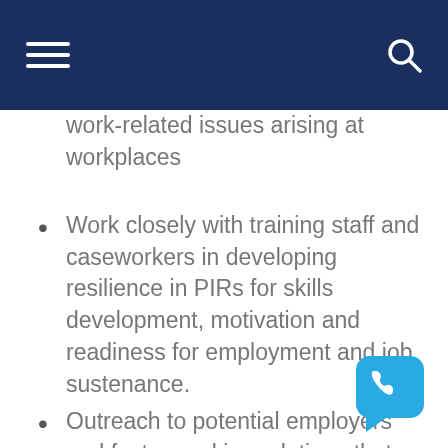work-related issues arising at workplaces
Work closely with training staff and caseworkers in developing resilience in PIRs for skills development, motivation and readiness for employment and job sustenance.
Outreach to potential employers and foster working relations that will propitiously lead to